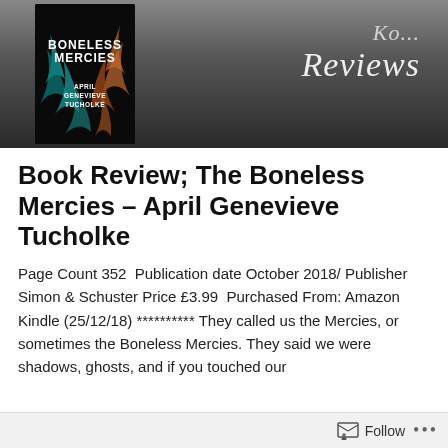[Figure (photo): Blog banner image showing a book cover for 'Boneless Mercies' by April Genevieve Tucholke on a dark chalkboard background with the word 'Reviews' in cursive script on the right side.]
Book Review; The Boneless Mercies – April Genevieve Tucholke
Page Count 352  Publication date October 2018/ Publisher Simon & Schuster Price £3.99  Purchased From: Amazon Kindle (25/12/18) ********** They called us the Mercies, or sometimes the Boneless Mercies. They said we were shadows, ghosts, and if you touched our
Follow